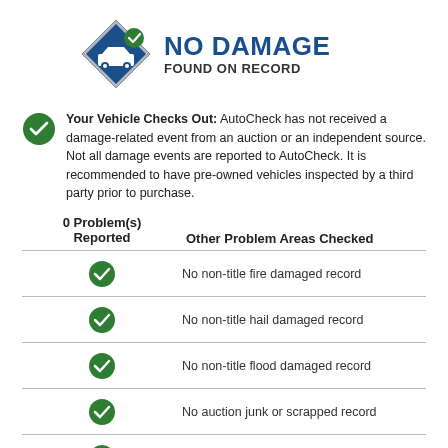[Figure (logo): Diamond-shaped icon with car and checkmark, AutoCheck No Damage Found on Record logo]
Your Vehicle Checks Out: AutoCheck has not received a damage-related event from an auction or an independent source. Not all damage events are reported to AutoCheck. It is recommended to have pre-owned vehicles inspected by a third party prior to purchase.
| 0 Problem(s) Reported | Other Problem Areas Checked |
| --- | --- |
| ✓ | No non-title fire damaged record |
| ✓ | No non-title hail damaged record |
| ✓ | No non-title flood damaged record |
| ✓ | No auction junk or scrapped record |
| ✓ | No auction rebuilt or rebuildable record |